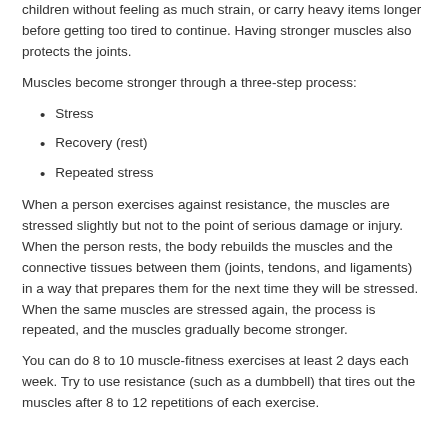children without feeling as much strain, or carry heavy items longer before getting too tired to continue. Having stronger muscles also protects the joints.
Muscles become stronger through a three-step process:
Stress
Recovery (rest)
Repeated stress
When a person exercises against resistance, the muscles are stressed slightly but not to the point of serious damage or injury. When the person rests, the body rebuilds the muscles and the connective tissues between them (joints, tendons, and ligaments) in a way that prepares them for the next time they will be stressed. When the same muscles are stressed again, the process is repeated, and the muscles gradually become stronger.
You can do 8 to 10 muscle-fitness exercises at least 2 days each week. Try to use resistance (such as a dumbbell) that tires out the muscles after 8 to 12 repetitions of each exercise.